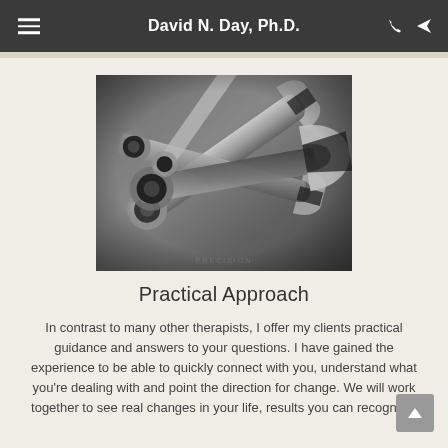David N. Day, Ph.D.
[Figure (photo): Black and white close-up photograph of multiple wrenches and mechanical tools arranged together]
Practical Approach
In contrast to many other therapists, I offer my clients practical guidance and answers to your questions. I have gained the experience to be able to quickly connect with you, understand what you're dealing with and point the direction for change. We will work together to see real changes in your life, results you can recognize.